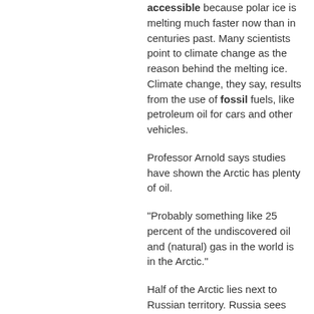accessible because polar ice is melting much faster now than in centuries past. Many scientists point to climate change as the reason behind the melting ice. Climate change, they say, results from the use of fossil fuels, like petroleum oil for cars and other vehicles.
Professor Arnold says studies have shown the Arctic has plenty of oil.
"Probably something like 25 percent of the undiscovered oil and (natural) gas in the world is in the Arctic."
Half of the Arctic lies next to Russian territory. Russia sees the Arctic as important for its own energy production.